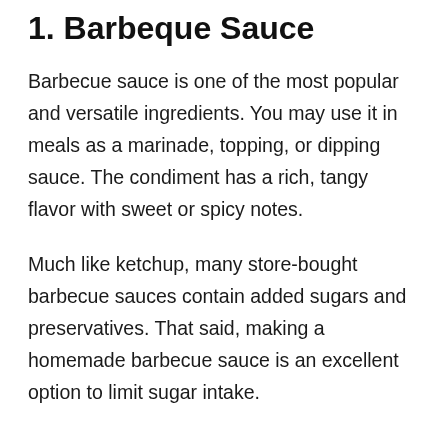1. Barbeque Sauce
Barbecue sauce is one of the most popular and versatile ingredients. You may use it in meals as a marinade, topping, or dipping sauce. The condiment has a rich, tangy flavor with sweet or spicy notes.
Much like ketchup, many store-bought barbecue sauces contain added sugars and preservatives. That said, making a homemade barbecue sauce is an excellent option to limit sugar intake.